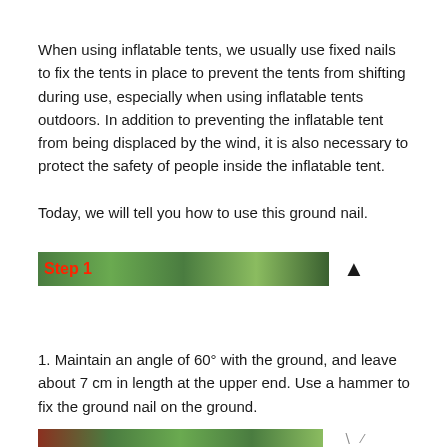When using inflatable tents, we usually use fixed nails to fix the tents in place to prevent the tents from shifting during use, especially when using inflatable tents outdoors. In addition to preventing the inflatable tent from being displaced by the wind, it is also necessary to protect the safety of people inside the inflatable tent.
Today, we will tell you how to use this ground nail.
[Figure (photo): Step 1 banner image showing green grass background with red 'Step 1' label and a small black bird icon on the right side]
1. Maintain an angle of 60° with the ground, and leave about 7 cm in length at the upper end. Use a hammer to fix the ground nail on the ground.
[Figure (photo): Partially visible bottom banner image showing green grass and partial view of ground nail or tool on the right]